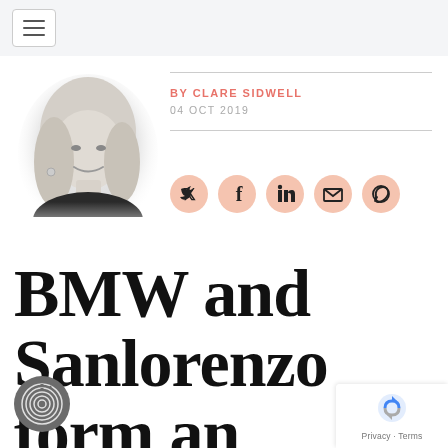BY CLARE SIDWELL
04 OCT 2019
[Figure (photo): Headshot of Clare Sidwell, a smiling blonde woman in a black lace top, grayscale photo]
[Figure (other): Social share icons: Twitter, Facebook, LinkedIn, Email, WhatsApp — peach/salmon circular buttons]
BMW and Sanlorenzo form an artistic
[Figure (other): reCAPTCHA privacy badge with Google reCAPTCHA logo and Privacy - Terms text]
[Figure (other): Fingerprint/privacy icon, circular, dark grey, bottom left corner]